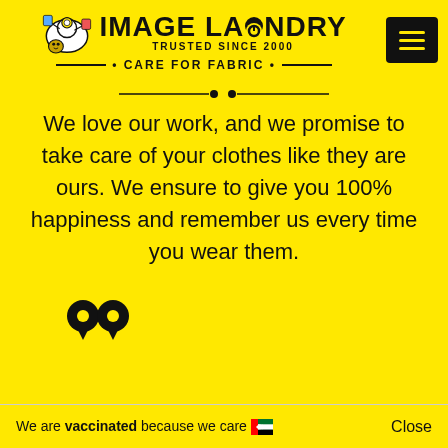[Figure (logo): Image Laundry logo with cartoon laundry bag character, brand name IMAGE LAUNDRY, TRUSTED SINCE 2000, tagline CARE FOR FABRIC, and hamburger menu button on yellow background]
[Figure (other): Horizontal divider with two dots in the center on yellow background]
We love our work, and we promise to take care of your clothes like they are ours. We ensure to give you 100% happiness and remember us every time you wear them.
[Figure (other): Review card box with phone icon circle, WhatsApp green circle, map pin icons, and review text: Let it be home laundry or commercial, Image Laundry has always given the best service. I have been using their services fo... Also shows Request a Pickup button with cart icon on the right side.]
We are vaccinated because we care 🇦🇪
Close